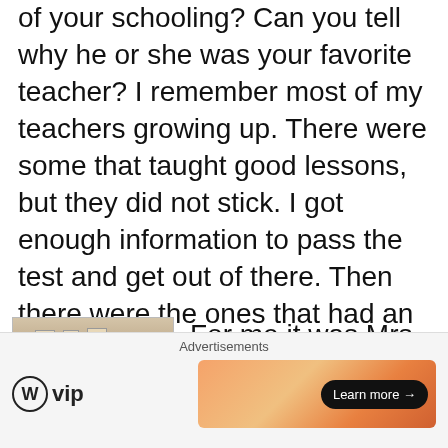of your schooling? Can you tell why he or she was your favorite teacher? I remember most of my teachers growing up. There were some that taught good lessons, but they did not stick. I got enough information to pass the test and get out of there. Then there were the ones that had an impact on my life. It's easy to name the ones we had in, say, high school, but as we get older can we name the ones from grade school who had a great impact?
[Figure (photo): Interior hallway or classroom with photos or frames on the wall]
For me it was Mrs. Stone, my 6th grade teacher. She
Advertisements
[Figure (logo): WordPress VIP logo with circle W icon and 'vip' text]
[Figure (other): Orange gradient advertisement banner with 'Learn more' button]